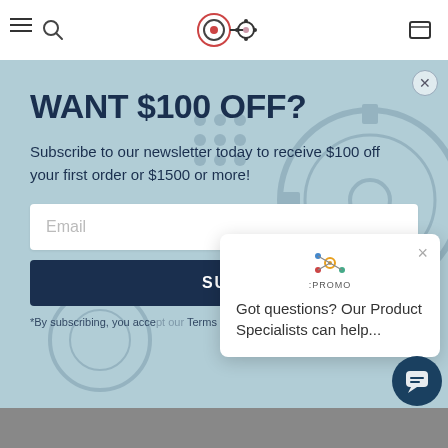[Figure (screenshot): Website navigation bar with hamburger menu icon, decorative target/gear logo, and cart icon on white background]
WANT $100 OFF?
Subscribe to our newsletter today to receive $100 off your first order or $1500 or more!
[Figure (screenshot): Email input field with placeholder text 'Email']
SU[BSCRIBE]
*By subscribing, you acce[pt our] Terms & Conditions.
[Figure (screenshot): iPromo chat popup showing logo and text 'Got questions? Our Product Specialists can help...' with close X button]
[Figure (screenshot): Dark blue circular chat button in bottom right corner]